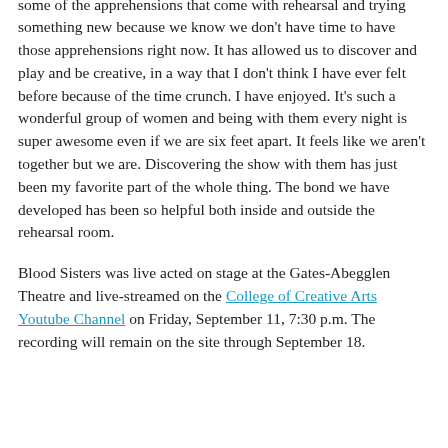a more immersive experience. I have felt in it at every rehearsal because you have to be and I think it's allowed us to let go of some of the apprehensions that come with rehearsal and trying something new because we know we don't have time to have those apprehensions right now. It has allowed us to discover and play and be creative, in a way that I don't think I have ever felt before because of the time crunch. I have enjoyed. It's such a wonderful group of women and being with them every night is super awesome even if we are six feet apart. It feels like we aren't together but we are. Discovering the show with them has just been my favorite part of the whole thing. The bond we have developed has been so helpful both inside and outside the rehearsal room.
Blood Sisters was live acted on stage at the Gates-Abegglen Theatre and live-streamed on the College of Creative Arts Youtube Channel on Friday, September 11, 7:30 p.m. The recording will remain on the site through September 18.